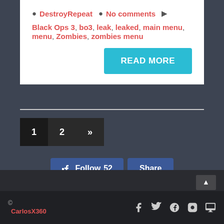DestroyRepeat  No comments
Black Ops 3, bo3, leak, leaked, main menu, menu, Zombies, zombies menu
READ MORE
1  2  »
Follow 52  Share
© CarlosX360